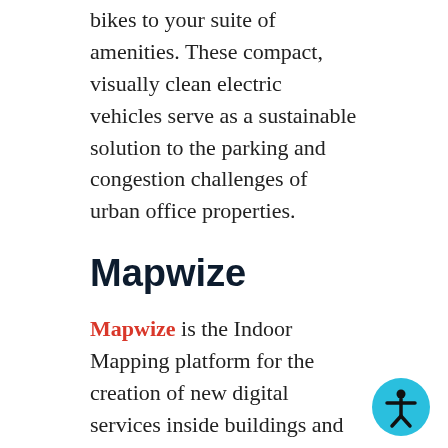bikes to your suite of amenities. These compact, visually clean electric vehicles serve as a sustainable solution to the parking and congestion challenges of urban office properties.
Mapwize
Mapwize is the Indoor Mapping platform for the creation of new digital services inside buildings and events. Their maps are easy to build and integrate into an office's wayfinding, workspace management, maintenance, or security applications. Through their integration, you can digitize your blueprints, customize your office map, and visualize wh...